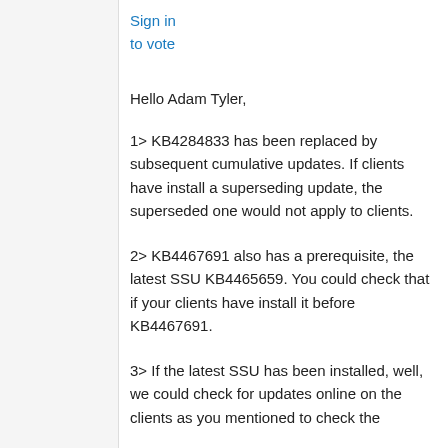Sign in
to vote
Hello Adam Tyler,
1> KB4284833 has been replaced by subsequent cumulative updates. If clients have install a superseding update, the superseded one would not apply to clients.
2> KB4467691 also has a prerequisite, the latest SSU KB4465659. You could check that if your clients have install it before KB4467691.
3> If the latest SSU has been installed, well, we could check for updates online on the clients as you mentioned to check the